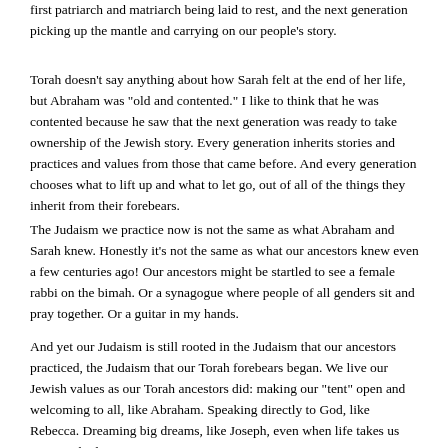first patriarch and matriarch being laid to rest, and the next generation picking up the mantle and carrying on our people's story.
Torah doesn't say anything about how Sarah felt at the end of her life, but Abraham was "old and contented." I like to think that he was contented because he saw that the next generation was ready to take ownership of the Jewish story. Every generation inherits stories and practices and values from those that came before. And every generation chooses what to lift up and what to let go, out of all of the things they inherit from their forebears.
The Judaism we practice now is not the same as what Abraham and Sarah knew. Honestly it's not the same as what our ancestors knew even a few centuries ago! Our ancestors might be startled to see a female rabbi on the bimah. Or a synagogue where people of all genders sit and pray together. Or a guitar in my hands.
And yet our Judaism is still rooted in the Judaism that our ancestors practiced, the Judaism that our Torah forebears began. We live our Jewish values as our Torah ancestors did: making our "tent" open and welcoming to all, like Abraham. Speaking directly to God, like Rebecca. Dreaming big dreams, like Joseph, even when life takes us into tough places.